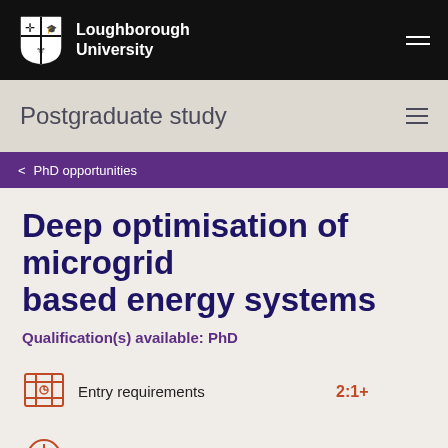Loughborough University
Postgraduate study
< PhD opportunities
Deep optimisation of microgrid based energy systems
Qualification(s) available: PhD
Entry requirements	2:1+
Full-time	3 years